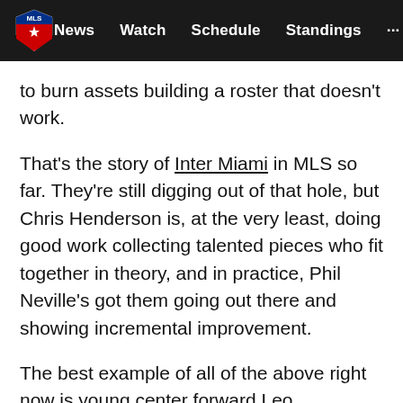MLS | News   Watch   Schedule   Standings   ...
to burn assets building a roster that doesn't work.
That's the story of Inter Miami in MLS so far. They're still digging out of that hole, but Chris Henderson is, at the very least, doing good work collecting talented pieces who fit together in theory, and in practice, Phil Neville's got them going out there and showing incremental improvement.
The best example of all of the above right now is young center forward Leo Campana, who on Sunday had a goal and an assist in Miami's 2-1 win over visiting Atlanta, the Herons' third straight (and fourth straight in all competitions). Campana is getting the room to play